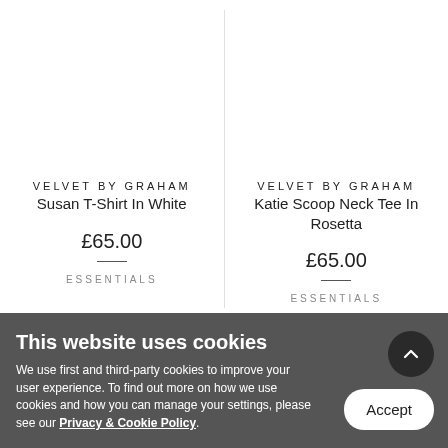VELVET BY GRAHAM
Susan T-Shirt In White
£65.00
ESSENTIALS
VELVET BY GRAHAM
Katie Scoop Neck Tee In Rosetta
£65.00
ESSENTIALS
This website uses cookies
We use first and third-party cookies to improve your user experience. To find out more on how we use cookies and how you can manage your settings, please see our Privacy & Cookie Policy.